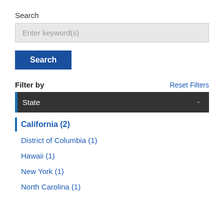Search
Enter keyword(s)
Search
Filter by
Reset Filters
State
California (2)
District of Columbia (1)
Hawaii (1)
New York (1)
North Carolina (1)